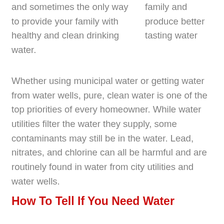and sometimes the only way to provide your family with healthy and clean drinking water.
family and produce better tasting water
Whether using municipal water or getting water from water wells, pure, clean water is one of the top priorities of every homeowner. While water utilities filter the water they supply, some contaminants may still be in the water. Lead, nitrates, and chlorine can all be harmful and are routinely found in water from city utilities and water wells.
How To Tell If You Need Water